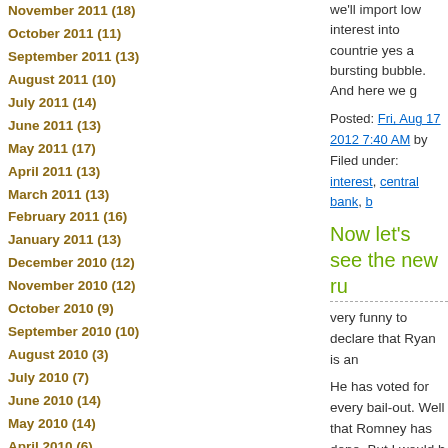November 2011 (18)
October 2011 (11)
September 2011 (13)
August 2011 (10)
July 2011 (14)
June 2011 (13)
May 2011 (17)
April 2011 (13)
March 2011 (13)
February 2011 (16)
January 2011 (13)
December 2010 (12)
November 2010 (12)
October 2010 (9)
September 2010 (10)
August 2010 (3)
July 2010 (7)
June 2010 (14)
May 2010 (14)
April 2010 (6)
March 2010 (7)
February 2010 (7)
January 2010 (5)
we'll import low interest into countrie yes a bursting bubble. And here we g
Posted: Fri, Aug 17 2012 7:40 AM by Filed under: interest, central bank, b
Now let's see the new ru
very funny to declare that Ryan is an
He has voted for every bail-out. Well that Romney has done. But I would b
Ryan wants to keep the FED and ex
Really people if you do not have rea his good name for darks business.
I'm sorry for you America but you are and the least you need are more exp don't you try something else but cor more government, less civil rights, m state. What do you think you win wit
Posted: Mon, Aug 13 2012 5:50 PM
★★★★★
Filed under: freedom no thanks, Rya